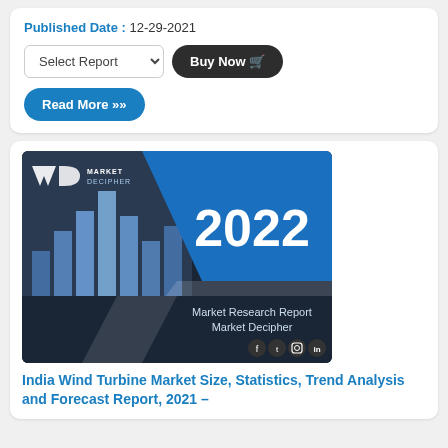Published Date : 12-29-2021
Select Report | Buy Now
Read More »
[Figure (illustration): Market Decipher 2022 Market Research Report cover image with blue bar chart graphic, MD logo, social media icons, and year 2022 prominently displayed]
India Wind Turbine Market Size, Statistics, Trend Analysis and Forecast Report, 2021 –